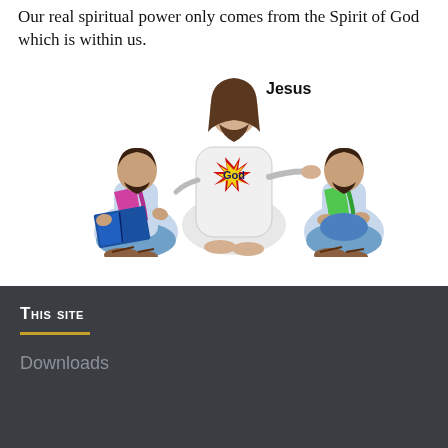Our real spiritual power only comes from the Spirit of God which is within us.
[Figure (illustration): Illustration showing Jesus seated in the center with a starburst labeled 'God' on his chest, flanked by two disciples sitting cross-legged. The left disciple wears a pink/magenta sash and holds an open book. The right disciple wears a green sash. Label 'Jesus' appears above the central figure.]
This site
Downloads